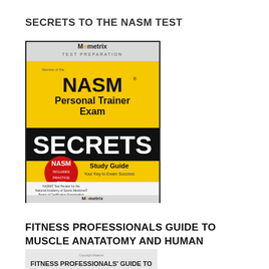SECRETS TO THE NASM TEST
[Figure (photo): Book cover: Mometrix Test Preparation - NASM Personal Trainer Exam SECRETS Study Guide. Yellow and black cover with 'NASM' logo badge and pencil/bubble sheet background. Subtitle: 'Your Key to Exam Success'. Text at bottom: 'NASM Test Review for the National Academy of Sports Medicine Board of Certification Examination']
FITNESS PROFESSIONALS GUIDE TO MUSCLE ANATATOMY AND HUMAN MOVEMENT
[Figure (photo): Partial view of second book cover: FITNESS PROFESSIONALS' GUIDE TO... (partially visible)]